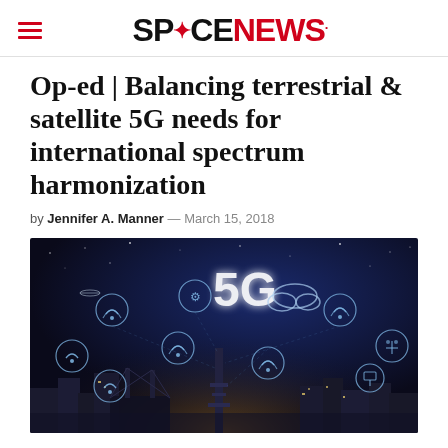SPACENEWS
Op-ed | Balancing terrestrial & satellite 5G needs for international spectrum harmonization
by Jennifer A. Manner — March 15, 2018
[Figure (photo): City skyline at night with 5G text and wireless/IoT connectivity icons overlaid on a dark blue background, illustrating 5G network connectivity concepts.]